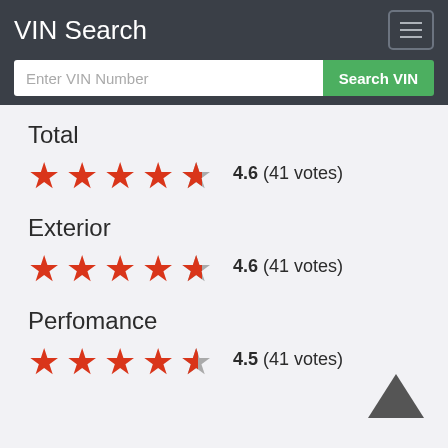VIN Search
Enter VIN Number  Search VIN
Total
4.6 (41 votes)
Exterior
4.6 (41 votes)
Perfomance
4.5 (41 votes)